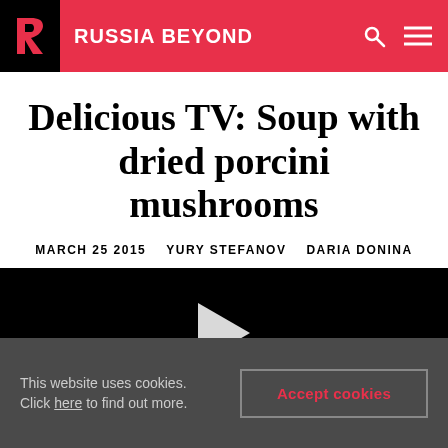RUSSIA BEYOND
Delicious TV: Soup with dried porcini mushrooms
MARCH 25 2015  YURY STEFANOV  DARIA DONINA
[Figure (screenshot): Black video player area with a white play button triangle in the center]
This website uses cookies. Click here to find out more.  Accept cookies